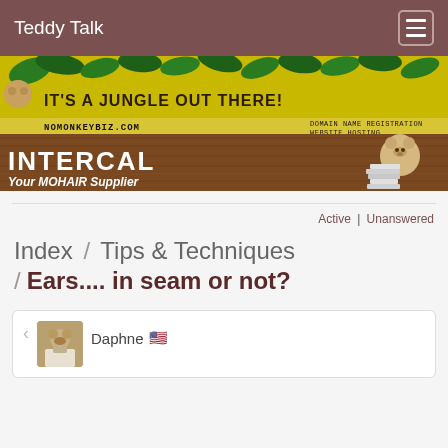Teddy Talk
[Figure (illustration): Two advertisement banners: top banner for nomonkeybiz.com reading IT'S A JUNGLE OUT THERE! with jungle/monkey imagery, domain name registration and website hosting text; bottom banner for INTERCAL Your MOHAIR Supplier with a teddy bear illustration]
Active | Unanswered
Index / Tips & Techniques / Ears.... in seam or not?
Daphne 🇺🇸